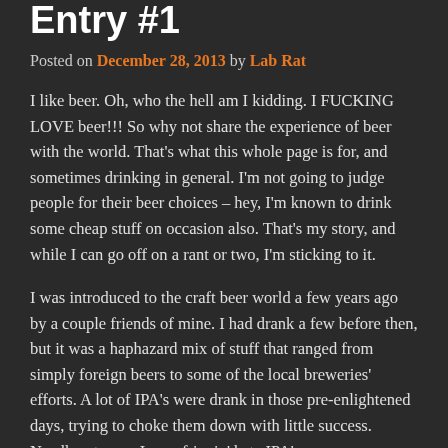Entry #1
Posted on December 28, 2013 by Lab Rat
I like beer. Oh, who the hell am I kidding. I FUCKING LOVE beer!!! So why not share the experience of beer with the world. That’s what this whole page is for, and sometimes drinking in general. I’m not going to judge people for their beer choices – hey, I’m known to drink some cheap stuff on occasion also. That’s my story, and while I can go off on a rant or two, I’m sticking to it.
I was introduced to the craft beer world a few years ago by a couple friends of mine. I had drank a few before then, but it was a haphazard mix of stuff that ranged from simply foreign beers to some of the local breweries’ efforts. A lot of IPA’s were drank in those pre-enlightened days, trying to choke them down with little success. Needless to say, I now friggin’ hate IPA’s.
As I got into this whole craft beer thing, I began educating myself as to what I actually liked. It takes a bit of trial and